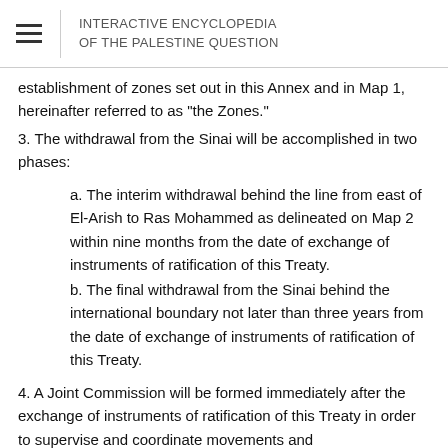INTERACTIVE ENCYCLOPEDIA OF THE PALESTINE QUESTION
establishment of zones set out in this Annex and in Map 1, hereinafter referred to as "the Zones."
3. The withdrawal from the Sinai will be accomplished in two phases:
a. The interim withdrawal behind the line from east of El-Arish to Ras Mohammed as delineated on Map 2 within nine months from the date of exchange of instruments of ratification of this Treaty.
b. The final withdrawal from the Sinai behind the international boundary not later than three years from the date of exchange of instruments of ratification of this Treaty.
4. A Joint Commission will be formed immediately after the exchange of instruments of ratification of this Treaty in order to supervise and coordinate movements and